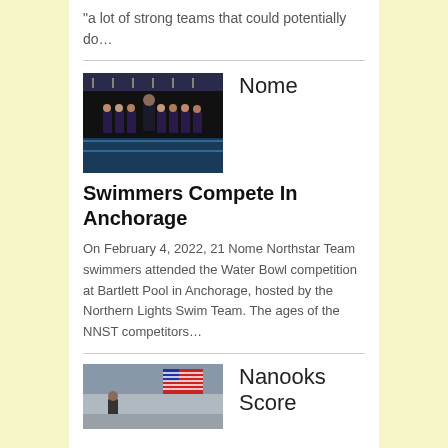“a lot of strong teams that could potentially do…
[Figure (photo): Group photo of swimmers in dark swimsuits standing poolside indoors, with a coach wearing a mask in the back.]
Nome
Swimmers Compete In Anchorage
On February 4, 2022, 21 Nome Northstar Team swimmers attended the Water Bowl competition at Bartlett Pool in Anchorage, hosted by the Northern Lights Swim Team. The ages of the NNST competitors…
[Figure (photo): Photo showing people at what appears to be an indoor swimming or sports facility with an American flag visible.]
Nanooks Score